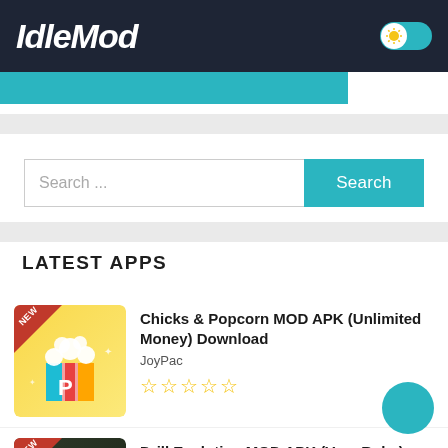IdleMod
Search ...
LATEST APPS
Chicks & Popcorn MOD APK (Unlimited Money) Download
JoyPac
☆☆☆☆☆
Drill Evolution MOD APK (Very Ruby) Download
puropuro
★★★★☆